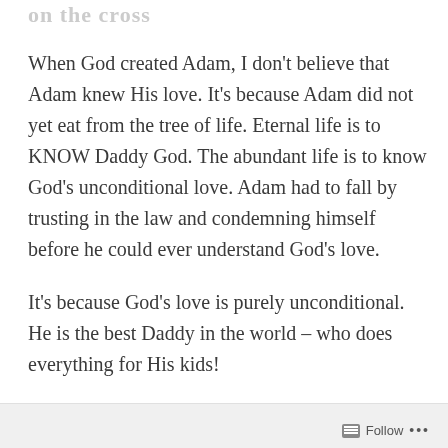on the cross
When God created Adam, I don't believe that Adam knew His love. It's because Adam did not yet eat from the tree of life. Eternal life is to KNOW Daddy God. The abundant life is to know God's unconditional love. Adam had to fall by trusting in the law and condemning himself before he could ever understand God's love.
It's because God's love is purely unconditional. He is the best Daddy in the world – who does everything for His kids!
Follow …